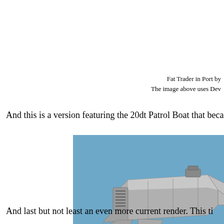Fat Trader in Port by
The image above uses Dev
And this is a version featuring the 20dt Patrol Boat that beca
[Figure (illustration): 3D render of a spacecraft or patrol boat on a blue background, showing a grey angular vessel with fins and engine details]
And last but not least an even more current render. This ti